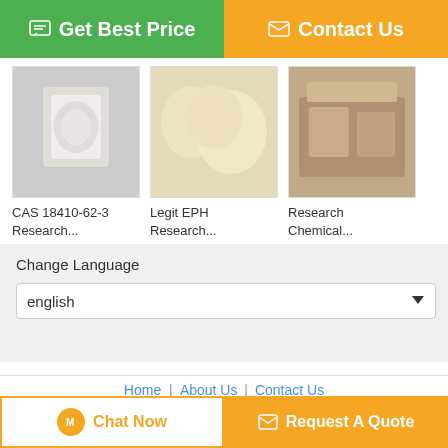[Figure (screenshot): Green 'Get Best Price' button with chat icon on left half of top bar]
[Figure (screenshot): Orange 'Contact Us' button with envelope icon on right half of top bar]
[Figure (photo): Product image 1 - white crystalline substance in bags]
CAS 18410-62-3 Research...
[Figure (photo): Product image 2 - powdery white/yellow substance]
Legit EPH Research...
[Figure (photo): Product image 3 - brown packaged substance in box]
Research Chemical...
Change Language
english
Home | About Us | Contact Us
Desktop View
China methylhexanamine Supplier. Copyright © 2017 - 2022 legalchemicalsbkmdma.com. All rights reserved. Developed by ECER
[Figure (screenshot): Orange 'Chat Now' button at bottom left]
[Figure (screenshot): Orange 'Request A Quote' button at bottom right]